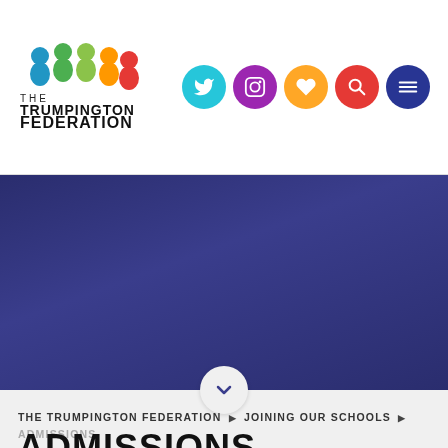[Figure (logo): The Trumpington Federation logo — colorful people figures (blue, green, orange, red) above text reading THE TRUMPINGTON FEDERATION]
[Figure (infographic): Social media icons: Twitter (cyan), Instagram (purple), heart/favorite (orange/yellow), search (red), menu (dark blue) — all circular]
[Figure (photo): Dark blue/indigo gradient hero banner area with a circular down-arrow scroll button at the bottom center]
THE TRUMPINGTON FEDERATION ▶ JOINING OUR SCHOOLS ▶ ADMISSIONS
ADMISSIONS